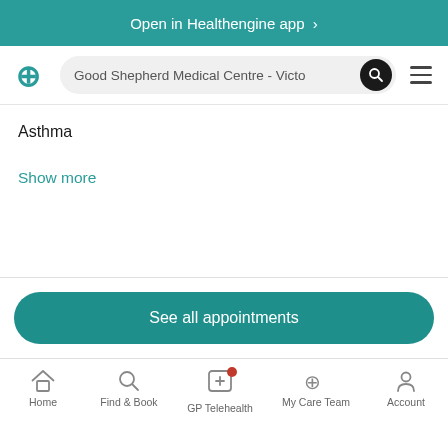Open in Healthengine app >
Good Shepherd Medical Centre - Victo
Asthma
Show more
See all appointments
Home | Find & Book | GP Telehealth | My Care Team | Account